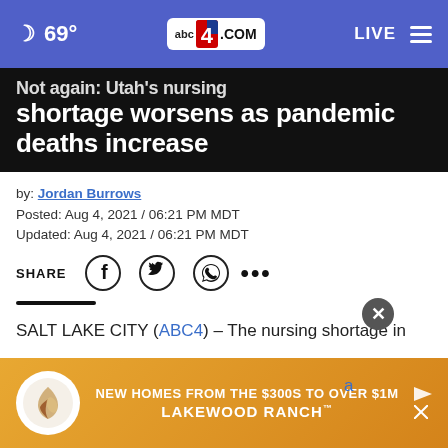69° abc4.com LIVE
Not again: Utah's nursing shortage worsens as pandemic deaths increase
by: Jordan Burrows
Posted: Aug 4, 2021 / 06:21 PM MDT
Updated: Aug 4, 2021 / 06:21 PM MDT
SHARE (social icons)
SALT LAKE CITY (ABC4) – The nursing shortage in Utah is getting worse as the COVID-19 Delta variant rages and nurses leave for other jobs beyond the physical
[Figure (screenshot): Advertisement banner for Lakewood Ranch homes from $300s to over $1M with logo]